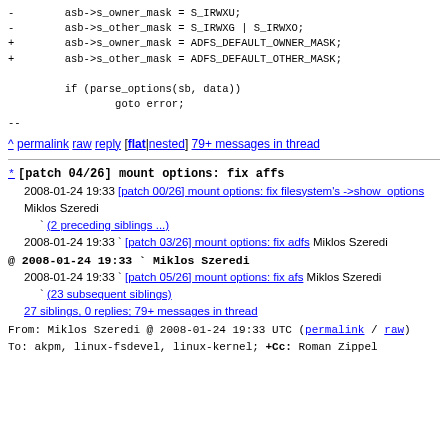-        asb->s_owner_mask = S_IRWXU;
-        asb->s_other_mask = S_IRWXG | S_IRWXO;
+        asb->s_owner_mask = ADFS_DEFAULT_OWNER_MASK;
+        asb->s_other_mask = ADFS_DEFAULT_OTHER_MASK;

         if (parse_options(sb, data))
                 goto error;
--
^ permalink raw reply    [flat|nested]  79+ messages in thread
* [patch 04/26] mount options: fix affs
2008-01-24 19:33  [patch 00/26] mount options: fix filesystem's ->show_options Miklos Szeredi
                    ` (2 preceding siblings ...)
  2008-01-24 19:33  ` [patch 03/26] mount options: fix adfs Miklos Szeredi
@ 2008-01-24 19:33  `  Miklos Szeredi
  2008-01-24 19:33    ` [patch 05/26] mount options: fix afs Miklos Szeredi
                        ` (23 subsequent siblings)
  27 siblings, 0 replies; 79+ messages in thread
From: Miklos Szeredi @ 2008-01-24 19:33 UTC (permalink / raw)
To: akpm, linux-fsdevel, linux-kernel; +Cc: Roman Zippel